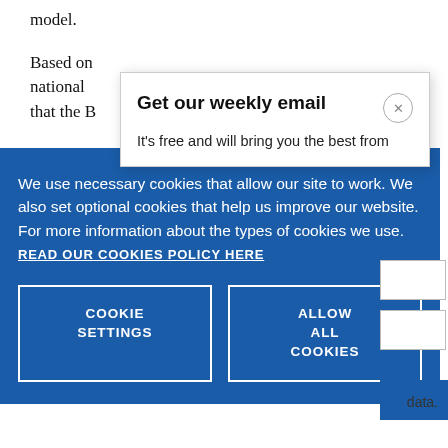model.
Based on national that the B
Get our weekly email
It's free and will bring you the best from
We use necessary cookies that allow our site to work. We also set optional cookies that help us improve our website. For more information about the types of cookies we use. READ OUR COOKIES POLICY HERE
COOKIE SETTINGS
ALLOW ALL COOKIES
data.